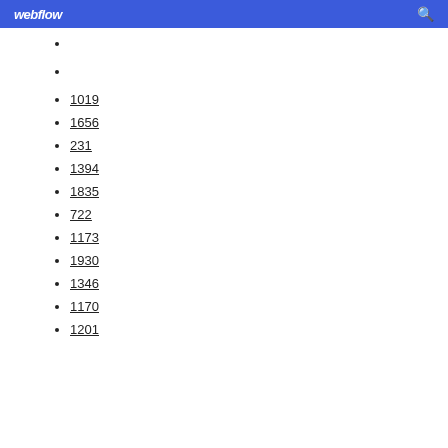webflow
1019
1656
231
1394
1835
722
1173
1930
1346
1170
1201